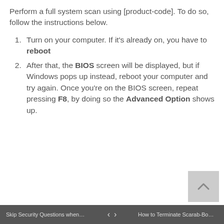Perform a full system scan using [product-code]. To do so, follow the instructions below.
Turn on your computer. If it's already on, you have to reboot
After that, the BIOS screen will be displayed, but if Windows pops up instead, reboot your computer and try again. Once you're on the BIOS screen, repeat pressing F8, by doing so the Advanced Option shows up.
Skip Security Questions when setti... < > How to Terminate Scarab-Bomber ...